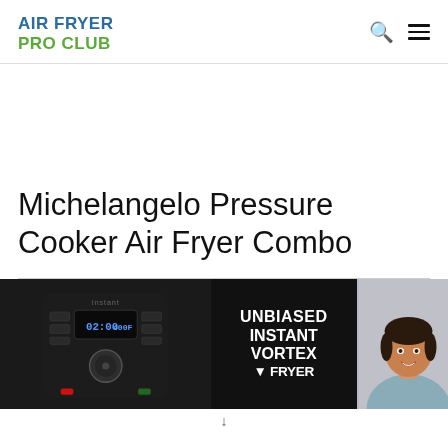AIR FRYER PRO CLUB
Michelangelo Pressure Cooker Air Fryer Combo
[Figure (photo): Left: black air fryer appliance with digital display showing 02:00 and 400F. Middle: dark background with bold white text reading UNBIASED INSTANT VORTEX [AIR FRYER]. Right: partial view of a smiling woman with short dark hair.]